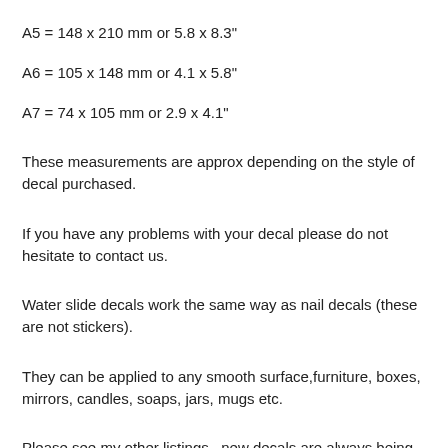A5 = 148 x 210 mm or 5.8 x 8.3"
A6 = 105 x 148 mm or 4.1 x 5.8"
A7 = 74 x 105 mm or 2.9 x 4.1"
These measurements are approx depending on the style of decal purchased.
If you have any problems with your decal please do not hesitate to contact us.
Water slide decals work the same way as nail decals (these are not stickers).
They can be applied to any smooth surface,furniture, boxes, mirrors, candles, soaps, jars, mugs etc.
Please see my other listings...new decals are always being added. You